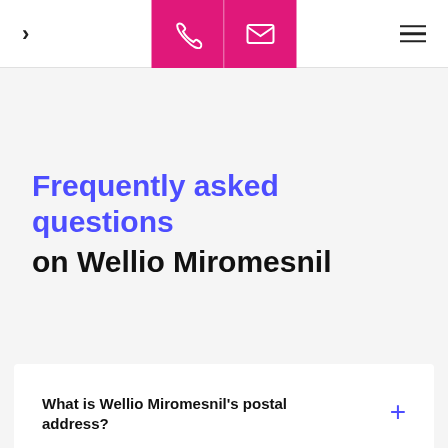Navigation bar with back chevron, phone and email contact icons (magenta), and hamburger menu
Frequently asked questions on Wellio Miromesnil
What is Wellio Miromesnil's postal address?